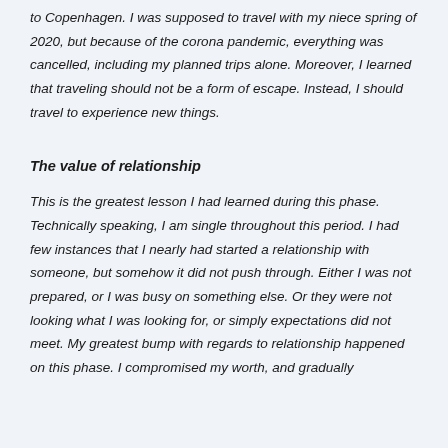to Copenhagen. I was supposed to travel with my niece spring of 2020, but because of the corona pandemic, everything was cancelled, including my planned trips alone. Moreover, I learned that traveling should not be a form of escape. Instead, I should travel to experience new things.
The value of relationship
This is the greatest lesson I had learned during this phase. Technically speaking, I am single throughout this period. I had few instances that I nearly had started a relationship with someone, but somehow it did not push through. Either I was not prepared, or I was busy on something else. Or they were not looking what I was looking for, or simply expectations did not meet. My greatest bump with regards to relationship happened on this phase. I compromised my worth, and gradually